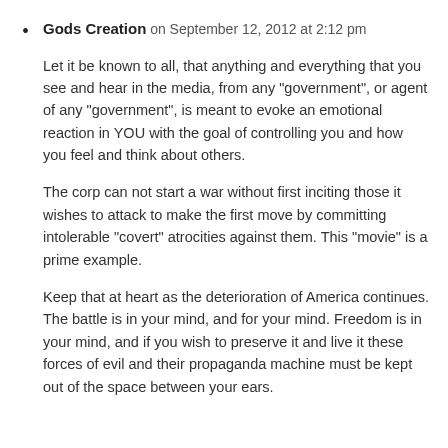Gods Creation on September 12, 2012 at 2:12 pm
Let it be known to all, that anything and everything that you see and hear in the media, from any “government”, or agent of any “government”, is meant to evoke an emotional reaction in YOU with the goal of controlling you and how you feel and think about others.
The corp can not start a war without first inciting those it wishes to attack to make the first move by committing intolerable “covert” atrocities against them. This “movie” is a prime example.
Keep that at heart as the deterioration of America continues. The battle is in your mind, and for your mind. Freedom is in your mind, and if you wish to preserve it and live it these forces of evil and their propaganda machine must be kept out of the space between your ears.